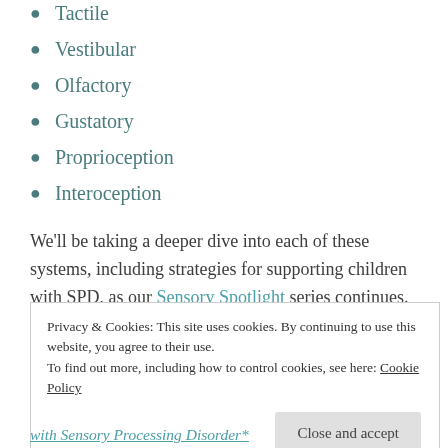Tactile
Vestibular
Olfactory
Gustatory
Proprioception
Interoception
We'll be taking a deeper dive into each of these systems, including strategies for supporting children with SPD, as our Sensory Spotlight series continues. Stay tuned!
Privacy & Cookies: This site uses cookies. By continuing to use this website, you agree to their use.
To find out more, including how to control cookies, see here: Cookie Policy
with Sensory Processing Disorder*